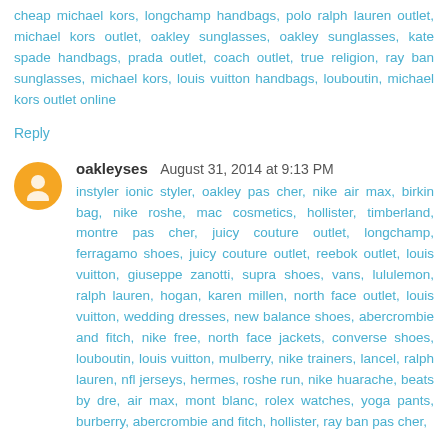cheap michael kors, longchamp handbags, polo ralph lauren outlet, michael kors outlet, oakley sunglasses, oakley sunglasses, kate spade handbags, prada outlet, coach outlet, true religion, ray ban sunglasses, michael kors, louis vuitton handbags, louboutin, michael kors outlet online
Reply
oakleyses August 31, 2014 at 9:13 PM
instyler ionic styler, oakley pas cher, nike air max, birkin bag, nike roshe, mac cosmetics, hollister, timberland, montre pas cher, juicy couture outlet, longchamp, ferragamo shoes, juicy couture outlet, reebok outlet, louis vuitton, giuseppe zanotti, supra shoes, vans, lululemon, ralph lauren, hogan, karen millen, north face outlet, louis vuitton, wedding dresses, new balance shoes, abercrombie and fitch, nike free, north face jackets, converse shoes, louboutin, louis vuitton, mulberry, nike trainers, lancel, ralph lauren, nfl jerseys, hermes, roshe run, nike huarache, beats by dre, air max, mont blanc, rolex watches, yoga pants, burberry, abercrombie and fitch, hollister, ray ban pas cher,